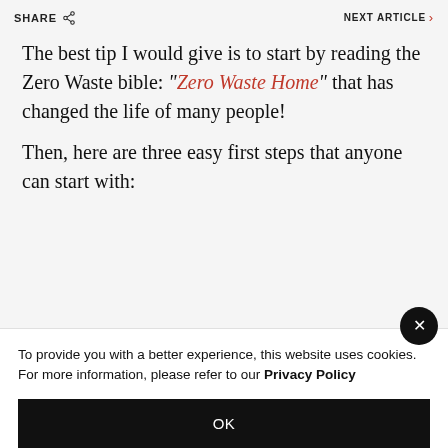SHARE
NEXT ARTICLE
The best tip I would give is to start by reading the Zero Waste bible: “Zero Waste Home” that has changed the life of many people!
Then, here are three easy first steps that anyone can start with:
To provide you with a better experience, this website uses cookies. For more information, please refer to our Privacy Policy
OK